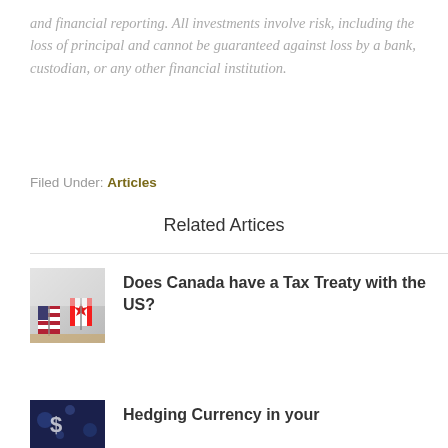and financial reporting. All investments involve risk, including the loss of principal and cannot be guaranteed against loss by a bank, custodian, or any other financial institution.
Filed Under: Articles
Related Artices
[Figure (photo): Photo of US and Canada flags side by side on a desk]
Does Canada have a Tax Treaty with the US?
[Figure (photo): Dark blue financial background with currency symbols, partially visible]
Hedging Currency in your